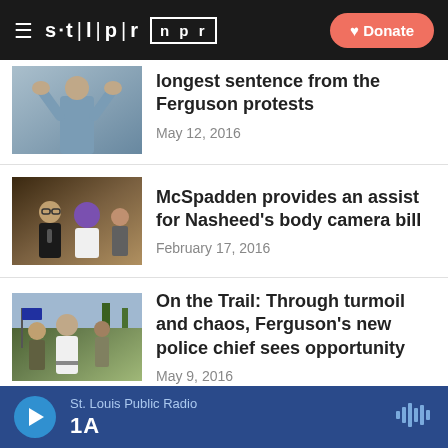STLPR NPR — Donate
[Figure (photo): Partial news article thumbnail showing a person with hands raised wearing a light blue shirt]
longest sentence from the Ferguson protests
May 12, 2016
[Figure (photo): News thumbnail showing people at a press conference, woman with glasses speaking into microphone, another person with purple hair beside her]
McSpadden provides an assist for Nasheed's body camera bill
February 17, 2016
[Figure (photo): News thumbnail showing a police chief in white uniform walking outdoors among a crowd with flags visible]
On the Trail: Through turmoil and chaos, Ferguson's new police chief sees opportunity
May 9, 2016
St. Louis Public Radio — 1A